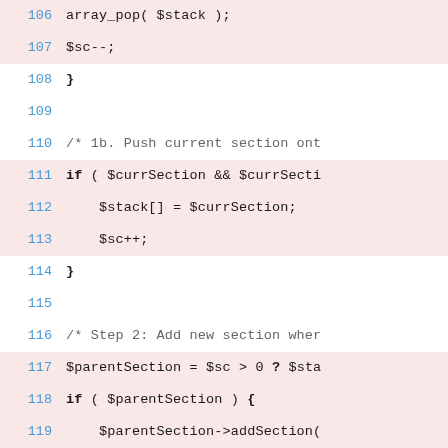106  array_pop( $stack );
107  $sc--;
108  }
109
110  /* 1b. Push current section ont
111  if ( $currSection && $currSecti
112  $stack[] = $currSection;
113  $sc++;
114  }
115
116  /* Step 2: Add new section wher
117  $parentSection = $sc > 0 ? $sta
118  if ( $parentSection ) {
119  $parentSection->addSection(
120  } else {
121  $rootNode->insertBefore( $s
122  }
123
124  /* Step 3: Add <h*> to the <sec